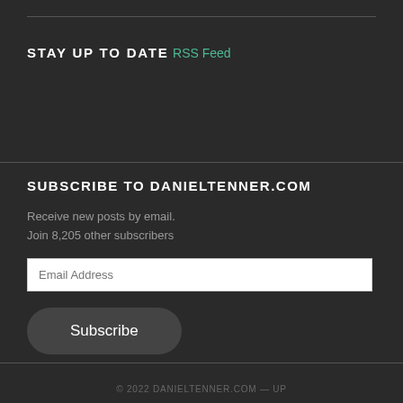STAY UP TO DATE
RSS Feed
SUBSCRIBE TO DANIELTENNER.COM
Receive new posts by email.
Join 8,205 other subscribers
© 2022 DANIELTENNER.COM — UP